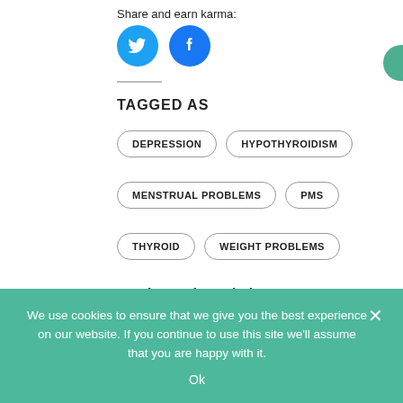Share and earn karma:
[Figure (illustration): Twitter bird icon (blue circle) and Facebook 'f' icon (blue circle) as social share buttons]
TAGGED AS
DEPRESSION
HYPOTHYROIDISM
MENSTRUAL PROBLEMS
PMS
THYROID
WEIGHT PROBLEMS
Related articles
[Figure (photo): Colorful image strip showing books/spines and green plants, related articles thumbnail]
We use cookies to ensure that we give you the best experience on our website. If you continue to use this site we'll assume that you are happy with it.
Ok